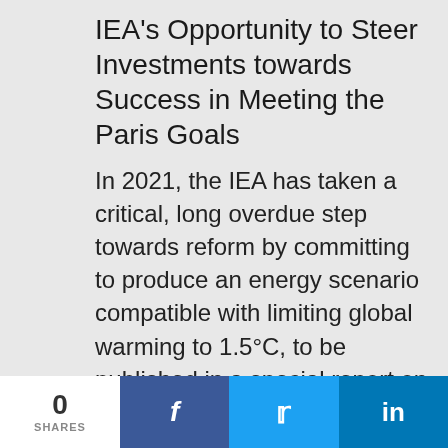IEA's Opportunity to Steer Investments towards Success in Meeting the Paris Goals
In 2021, the IEA has taken a critical, long overdue step towards reform by committing to produce an energy scenario compatible with limiting global warming to 1.5°C, to be published in a special report on 18 May. In this short briefing, we outline steps the IEA must take to ensure this new scenario has both scientific integrity and a
0 SHARES | Facebook | Twitter | LinkedIn